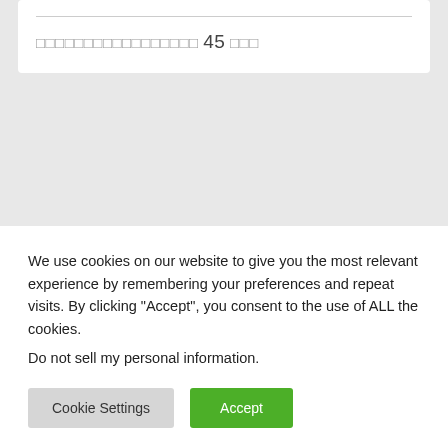□□□□□□□□□□□□□□□□□ 45 □□□
We use cookies on our website to give you the most relevant experience by remembering your preferences and repeat visits. By clicking "Accept", you consent to the use of ALL the cookies.
Do not sell my personal information.
Cookie Settings
Accept